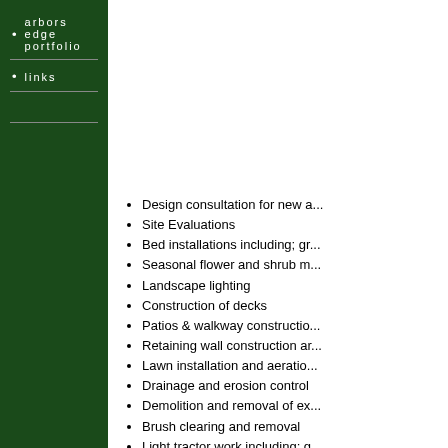arbors edge portfolio
links
Design consultation for new a...
Site Evaluations
Bed installations including; gr...
Seasonal flower and shrub m...
Landscape lighting
Construction of decks
Patios & walkway constructio...
Retaining wall construction ar...
Lawn installation and aeratio...
Drainage and erosion control
Demolition and removal of ex...
Brush clearing and removal
Light tractor work including; g...
Site Evaluation
Details are often overlooked in the ha... remedy for long term functionality to n... consultation on new or existing home... many other projects. Arbors Edge off...